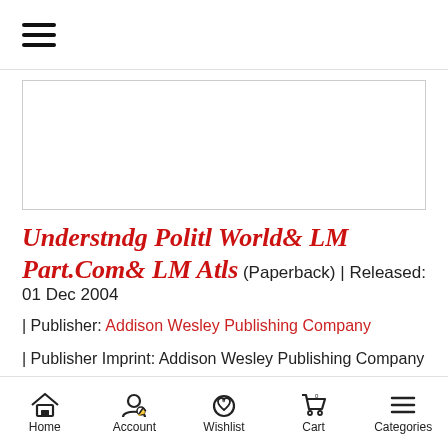☰ (hamburger menu)
[Figure (other): Book cover image placeholder — white rectangle with border]
Understndg Politl World& LM Part.Com& LM Atls (Paperback) | Released: 01 Dec 2004
| Publisher: Addison Wesley Publishing Company
| Publisher Imprint: Addison Wesley Publishing Company
★ ★ ★ ★ ★ | Write a Review
Rs.8,279
Home | Account | Wishlist 0 | Cart 0 | Categories